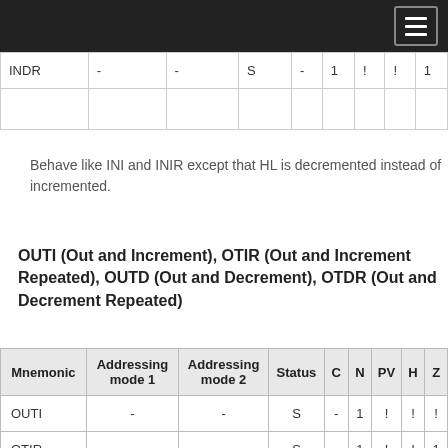| Mnemonic | Addressing mode 1 | Addressing mode 2 | Status | C | N | PV | H | Z |
| --- | --- | --- | --- | --- | --- | --- | --- | --- |
| INDR | - | - | S | - | 1 | ! | ! | 1 |
Behave like INI and INIR except that HL is decremented instead of incremented.
OUTI (Out and Increment), OTIR (Out and Increment Repeated), OUTD (Out and Decrement), OTDR (Out and Decrement Repeated)
| Mnemonic | Addressing mode 1 | Addressing mode 2 | Status | C | N | PV | H | Z |
| --- | --- | --- | --- | --- | --- | --- | --- | --- |
| OUTI | - | - | S | - | 1 | ! | ! | ! |
| OTIR | - | - | S | - | 1 | ! | ! | 1 |
| OUTD | - | - | S | - | 1 | ! | ! | ! |